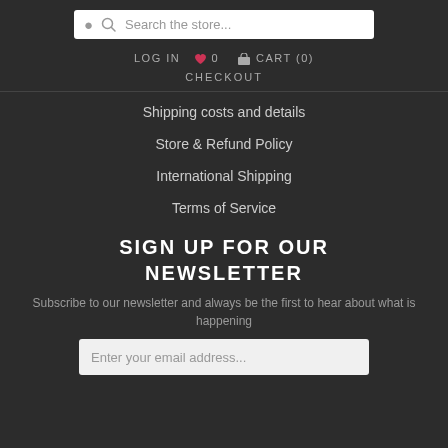Search the store...
LOG IN  ♥ 0  🛒 CART (0)
CHECKOUT
Shipping costs and details
Store & Refund Policy
International Shipping
Terms of Service
SIGN UP FOR OUR NEWSLETTER
Subscribe to our newsletter and always be the first to hear about what is happening
Enter your email address...